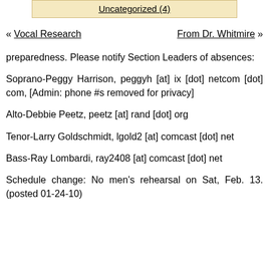Uncategorized (4)
« Vocal Research    From Dr. Whitmire »
preparedness. Please notify Section Leaders of absences:
Soprano-Peggy Harrison, peggyh [at] ix [dot] netcom [dot] com, [Admin: phone #s removed for privacy]
Alto-Debbie Peetz, peetz [at] rand [dot] org
Tenor-Larry Goldschmidt, lgold2 [at] comcast [dot] net
Bass-Ray Lombardi, ray2408 [at] comcast [dot] net
Schedule change: No men's rehearsal on Sat, Feb. 13. (posted 01-24-10)